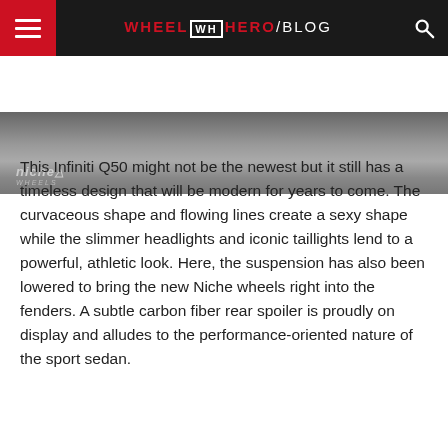WHEEL WH HERO /BLOG
[Figure (photo): Top portion of a dark Infiniti Q50 car, cropped view showing the roof and rear, with Niche logo watermark in lower left]
This Infiniti Q50 might not be the newest but it still has a timeless design that will be modern for years to come. The curvaceous shape and flowing lines create a sexy shape while the slimmer headlights and iconic taillights lend to a powerful, athletic look. Here, the suspension has also been lowered to bring the new Niche wheels right into the fenders. A subtle carbon fiber rear spoiler is proudly on display and alludes to the performance-oriented nature of the sport sedan.
[Figure (photo): Lower portion of dark Infiniti Q50 car showing roofline and rear quarter panel with orange tail light visible]
Social share buttons: Facebook, Twitter, Pinterest, other